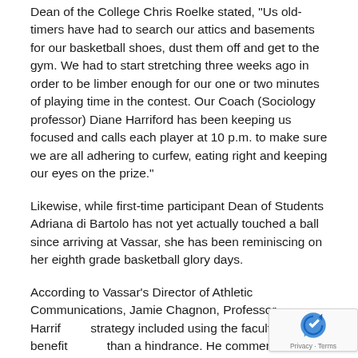Dean of the College Chris Roelke stated, "Us old-timers have had to search our attics and basements for our basketball shoes, dust them off and get to the gym. We had to start stretching three weeks ago in order to be limber enough for our one or two minutes of playing time in the contest. Our Coach (Sociology professor) Diane Harriford has been keeping us focused and calls each player at 10 p.m. to make sure we are all adhering to curfew, eating right and keeping our eyes on the prize."
Likewise, while first-time participant Dean of Students Adriana di Bartolo has not yet actually touched a ball since arriving at Vassar, she has been reminiscing on her eighth grade basketball glory days.
According to Vassar's Director of Athletic Communications, Jamie Chagnon, Professor Harriford's strategy included using the faculty's age as benefit rather than a hindrance. He commented, "We have to use our